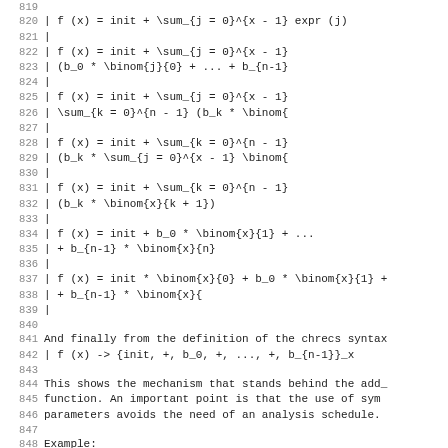819
820    | f (x) = init + \sum_{j = 0}^{x - 1} expr (j)
821    |
822    | f (x) = init + \sum_{j = 0}^{x - 1}
823    |                (b_0 * \binom{j}{0} + ... + b_{n-1}
824    |
825    | f (x) = init + \sum_{j = 0}^{x - 1}
826    |                \sum_{k = 0}^{n - 1} (b_k * \binom{
827    |
828    | f (x) = init + \sum_{k = 0}^{n - 1}
829    |                (b_k * \sum_{j = 0}^{x - 1} \binom{
830    |
831    | f (x) = init + \sum_{k = 0}^{n - 1}
832    |                (b_k * \binom{x}{k + 1})
833    |
834    | f (x) = init + b_0 * \binom{x}{1} + ...
835    |                + b_{n-1} * \binom{x}{n}
836    |
837    | f (x) = init * \binom{x}{0} + b_0 * \binom{x}{1} +
838    |                              + b_{n-1} * \binom{x}{
839    |
840
841    And finally from the definition of the chrecs syntax
842    | f (x)  ->  {init, +, b_0, +, ..., +, b_{n-1}}_x
843
844    This shows the mechanism that stands behind the add_
845    function.  An important point is that the use of sym
846    parameters avoids the need of an analysis schedule.
847
848    Example:
849
850    | inita = ...